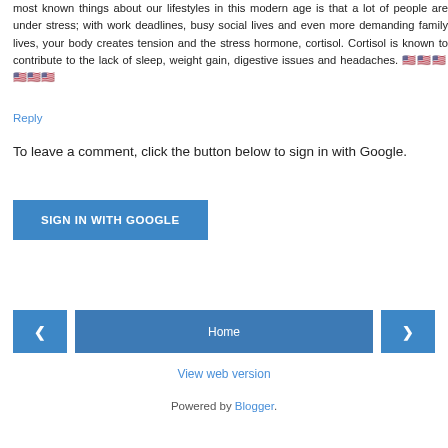most known things about our lifestyles in this modern age is that a lot of people are under stress; with work deadlines, busy social lives and even more demanding family lives, your body creates tension and the stress hormone, cortisol. Cortisol is known to contribute to the lack of sleep, weight gain, digestive issues and headaches. 🇺🇸🇺🇸🇺🇸🇺🇸🇺🇸🇺🇸
Reply
To leave a comment, click the button below to sign in with Google.
[Figure (screenshot): Blue button labeled SIGN IN WITH GOOGLE]
[Figure (screenshot): Navigation bar with left arrow button, Home button, and right arrow button]
View web version
Powered by Blogger.